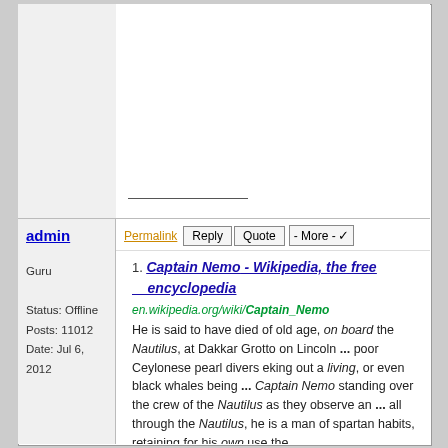admin
Guru
Status: Offline
Posts: 11012
Date: Jul 6, 2012
Permalink  Reply  Quote  - More -
Captain Nemo - Wikipedia, the free encyclopedia
en.wikipedia.org/wiki/Captain_Nemo
He is said to have died of old age, on board the Nautilus, at Dakkar Grotto on Lincoln ... poor Ceylonese pearl divers eking out a living, or even black whales being ... Captain Nemo standing over the crew of the Nautilus as they observe an ... all through the Nautilus, he is a man of spartan habits, retaining for his own use the